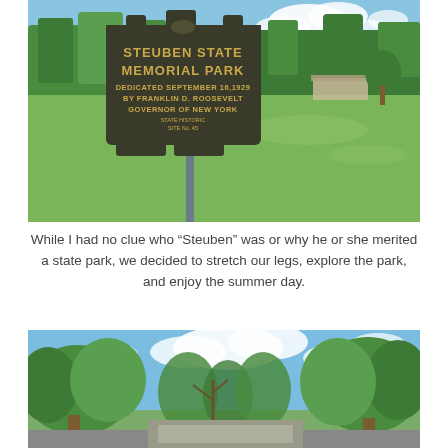[Figure (photo): Outdoor photo of Steuben State Memorial Park sign in foreground (dark metal sign with gold lettering reading 'STEUBEN STATE MEMORIAL PARK DEDICATED SEPTEMBER 16 1929 BY FRANKLIN D. ROOSEVELT GOVERNOR OF NEW YORK') with a green grassy field, trees, and a building in the background under a blue sky with white clouds.]
While I had no clue who “Steuben” was or why he or she merited a state park, we decided to stretch our legs, explore the park, and enjoy the summer day.
[Figure (photo): Outdoor photo looking up at tree canopy and blue sky with clouds. Trees in early summer leaf, some bare branches visible. A low stone or concrete structure visible at the bottom center of the image.]